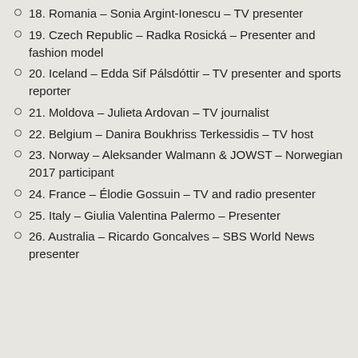18. Romania – Sonia Argint-Ionescu – TV presenter
19. Czech Republic – Radka Rosická – Presenter and fashion model
20. Iceland – Edda Sif Pálsdóttir – TV presenter and sports reporter
21. Moldova – Julieta Ardovan – TV journalist
22. Belgium – Danira Boukhriss Terkessidis – TV host
23. Norway – Aleksander Walmann & JOWST – Norwegian 2017 participant
24. France – Élodie Gossuin – TV and radio presenter
25. Italy – Giulia Valentina Palermo – Presenter
26. Australia – Ricardo Goncalves – SBS World News presenter